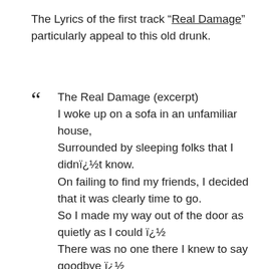The Lyrics of the first track “Real Damage” particularly appeal to this old drunk.
“ The Real Damage (excerpt)
I woke up on a sofa in an unfamiliar house,
Surrounded by sleeping folks that I didnï¿½t know.
On failing to find my friends, I decided that it was clearly time to go.
So I made my way out of the door as quietly as I could ï¿½
There was no one there I knew to say goodbye ï¿½
Squinting in the sadly sobering sunshine of the Sunday morning light.

I started the night with all my friends and I